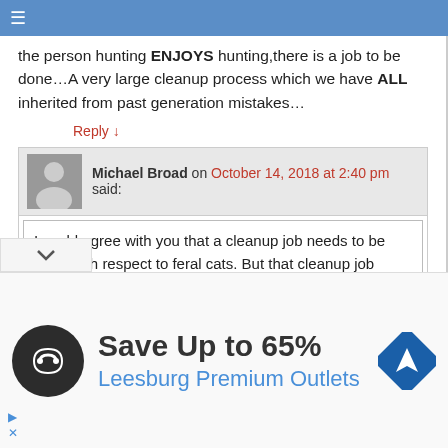≡ (navigation menu)
the person hunting ENJOYS hunting,there is a job to be done…A very large cleanup process which we have ALL inherited from past generation mistakes…
Reply ↓
Michael Broad on October 14, 2018 at 2:40 pm said:
I could agree with you that a cleanup job needs to be done with respect to feral cats. But that cleanup job needs to be done humanely which does not include hunting and killing feral cats. It means gradually reducing their population size over many years. We have to do this because we have an obligation to behave decently towards them because we put them there. If you don't e that you are an unethical person which goes against
[Figure (infographic): Advertisement banner for Leesburg Premium Outlets: 'Save Up to 65%' with circular logo and navigation icon]
Save Up to 65%
Leesburg Premium Outlets